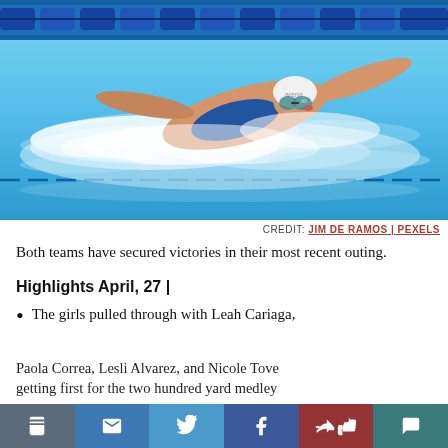[Figure (photo): Female competitive swimmer doing freestyle stroke in a pool, wearing a white swim cap and goggles. Blue lane ropes visible in background.]
CREDIT: JIM DE RAMOS | PEXELS
Both teams have secured victories in their most recent outing.
Highlights April, 27 |
The girls pulled through with Leah Cariaga, Paola Correa, Lesli Alvarez, and Nicole Tove getting first for the two hundred yard medley